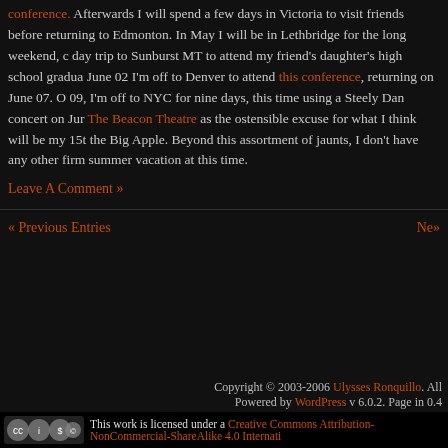conference. Afterwards I will spend a few days in Victoria to visit friends before returning to Edmonton. In May I will be in Lethbridge for the long weekend, and a day trip to Sunburst MT to attend my friend's daughter's high school graduation. On June 02 I'm off to Denver to attend this conference, returning on June 07. On June 09, I'm off to NYC for nine days, this time using a Steely Dan concert on Jun at The Beacon Theatre as the ostensible excuse for what I think will be my 15th visit to the Big Apple. Beyond this assortment of jaunts, I don't have any other firm plans for summer vacation at this time.
Leave A Comment »
« Previous Entries   Next »
Copyright © 2003-2006 Ulysses Ronquillo. All rights reserved. Powered by WordPress v 6.0.2. Page in 0.4
This work is licensed under a Creative Commons Attribution-NonCommercial-ShareAlike 4.0 International
This blog is protected by dr Dave's Spam Karma 2: 36105